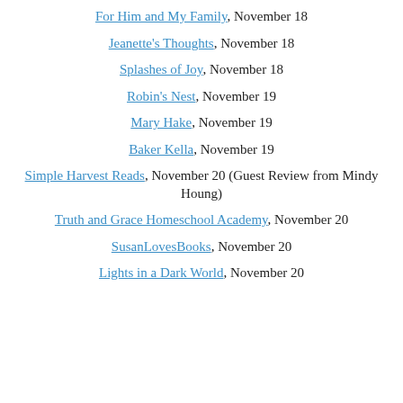For Him and My Family, November 18
Jeanette's Thoughts, November 18
Splashes of Joy, November 18
Robin's Nest, November 19
Mary Hake, November 19
Baker Kella, November 19
Simple Harvest Reads, November 20 (Guest Review from Mindy Houng)
Truth and Grace Homeschool Academy, November 20
SusanLovesBooks, November 20
Lights in a Dark World, November 20